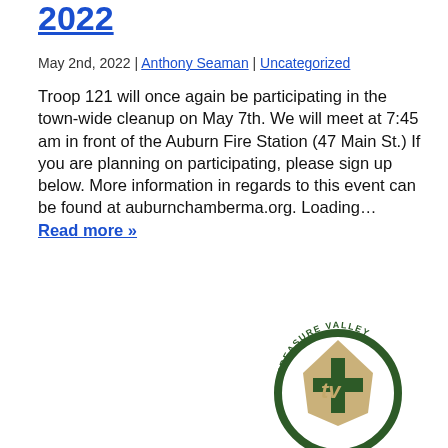2022
May 2nd, 2022 | Anthony Seaman | Uncategorized
Troop 121 will once again be participating in the town-wide cleanup on May 7th. We will meet at 7:45 am in front of the Auburn Fire Station (47 Main St.) If you are planning on participating, please sign up below. More information in regards to this event can be found at auburnchamberma.org. Loading… Read more »
[Figure (logo): Treasure Valley circular logo with arrowhead and TV monogram in green and tan colors]